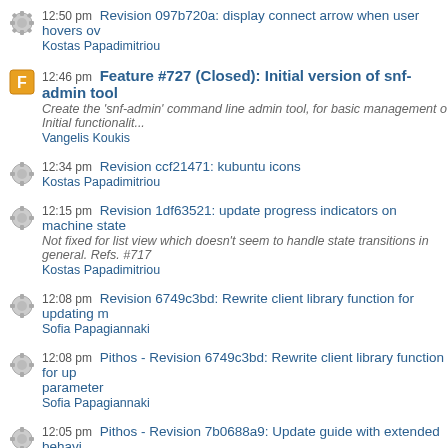12:50 pm Revision 097b720a: display connect arrow when user hovers ov
Kostas Papadimitriou
12:46 pm Feature #727 (Closed): Initial version of snf-admin tool
Create the 'snf-admin' command line admin tool, for basic management o... Initial functionalit...
Vangelis Koukis
12:34 pm Revision ccf21471: kubuntu icons
Kostas Papadimitriou
12:15 pm Revision 1df63521: update progress indicators on machine state
Not fixed for list view which doesn't seem to handle state transitions in general. Refs. #717
Kostas Papadimitriou
12:08 pm Revision 6749c3bd: Rewrite client library function for updating m
Sofia Papagiannaki
12:08 pm Pithos - Revision 6749c3bd: Rewrite client library function for up parameter
Sofia Papagiannaki
12:05 pm Pithos - Revision 7b0688a9: Update guide with extended behavi
Sofia Papagiannaki
12:05 pm Revision 7b0688a9: Update guide with extended behavior
Sofia Papagiannaki
12:02 pm Revision f1713999: Fix is_allowed for groups
Sofia Papagiannaki